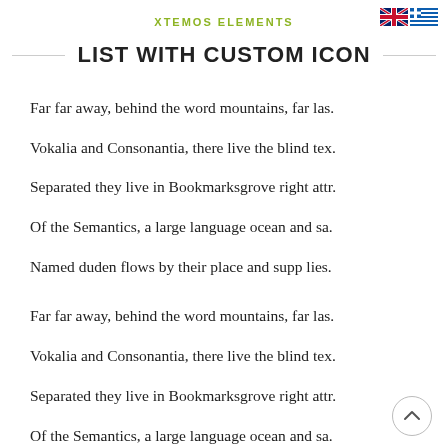XTEMOS ELEMENTS
LIST WITH CUSTOM ICON
Far far away, behind the word mountains, far las.
Vokalia and Consonantia, there live the blind tex.
Separated they live in Bookmarksgrove right attr.
Of the Semantics, a large language ocean and sa.
Named duden flows by their place and supp lies.
Far far away, behind the word mountains, far las.
Vokalia and Consonantia, there live the blind tex.
Separated they live in Bookmarksgrove right attr.
Of the Semantics, a large language ocean and sa.